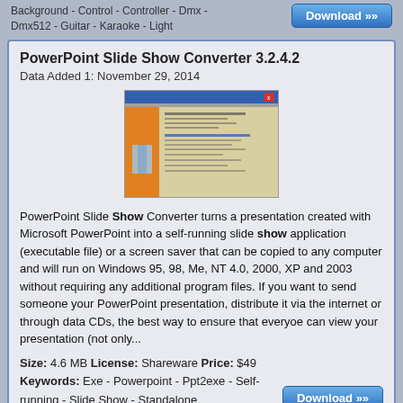Background - Control - Controller - Dmx - Dmx512 - Guitar - Karaoke - Light
[Figure (screenshot): Download button (top right)]
PowerPoint Slide Show Converter 3.2.4.2
Data Added 1: November 29, 2014
[Figure (screenshot): Screenshot of PowerPoint Slide Show Converter application window]
PowerPoint Slide Show Converter turns a presentation created with Microsoft PowerPoint into a self-running slide show application (executable file) or a screen saver that can be copied to any computer and will run on Windows 95, 98, Me, NT 4.0, 2000, XP and 2003 without requiring any additional program files. If you want to send someone your PowerPoint presentation, distribute it via the internet or through data CDs, the best way to ensure that everyoe can view your presentation (not only...
Size: 4.6 MB License: Shareware Price: $49
Keywords: Exe - Powerpoint - Ppt2exe - Self-running - Slide Show - Standalone
[Figure (screenshot): Download button]
Show Strings 2.0
Data Added 1: May 24, 2007
[Figure (screenshot): Screenshot of Show Strings application window (partial)]